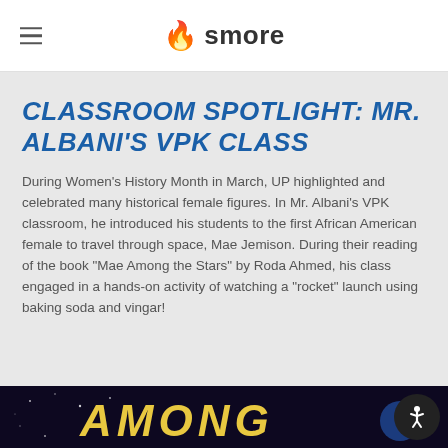smore
CLASSROOM SPOTLIGHT: MR. ALBANI'S VPK CLASS
During Women's History Month in March, UP highlighted and celebrated many historical female figures. In Mr. Albani's VPK classroom, he introduced his students to the first African American female to travel through space, Mae Jemison. During their reading of the book "Mae Among the Stars" by Roda Ahmed, his class engaged in a hands-on activity of watching a "rocket" launch using baking soda and vingar!
[Figure (photo): Bottom strip showing the word AMONG in large yellow letters on a purple/space background, partial book cover image for Mae Among the Stars]